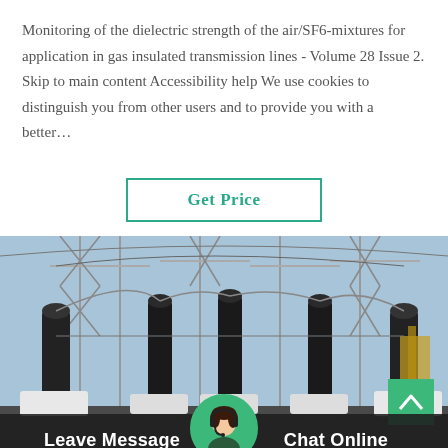Monitoring of the dielectric strength of the air/SF6-mixtures for application in gas insulated transmission lines - Volume 28 Issue 2. Skip to main content Accessibility help We use cookies to distinguish you from other users and to provide you with a better…
[Figure (other): A button labeled 'Get Price' with a green border and green text on white background]
[Figure (photo): Photograph of an electrical substation showing high-voltage insulators, transmission line towers, and overhead power lines against a blue sky]
Leave Message
Chat Online